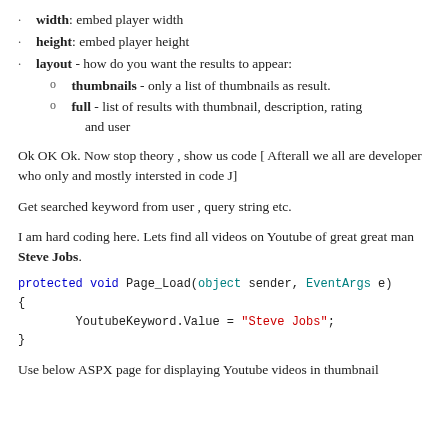width: embed player width
height: embed player height
layout - how do you want the results to appear:
thumbnails - only a list of thumbnails as result.
full - list of results with thumbnail, description, rating and user
Ok OK Ok. Now stop theory , show us code [ Afterall we all are developer who only and mostly intersted in code J]
Get searched keyword from user , query string etc.
I am hard coding here. Lets find all videos on Youtube of great great man Steve Jobs.
protected void Page_Load(object sender, EventArgs e)
{
        YoutubeKeyword.Value = "Steve Jobs";
}
Use below ASPX page for displaying Youtube videos in thumbnail